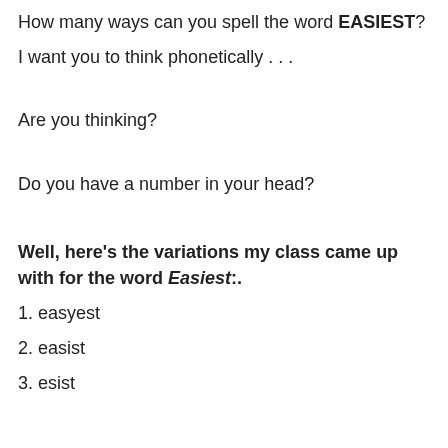How many ways can you spell the word EASIEST?
I want you to think phonetically . . .
Are you thinking?
Do you have a number in your head?
Well, here's the variations my class came up with for the word Easiest:.
1. easyest
2. easist
3. esist